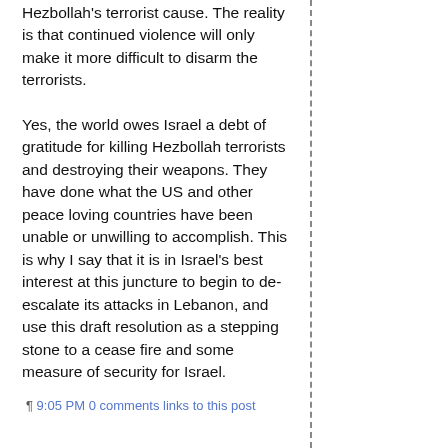Hezbollah's terrorist cause. The reality is that continued violence will only make it more difficult to disarm the terrorists.
Yes, the world owes Israel a debt of gratitude for killing Hezbollah terrorists and destroying their weapons. They have done what the US and other peace loving countries have been unable or unwilling to accomplish. This is why I say that it is in Israel's best interest at this juncture to begin to de-escalate its attacks in Lebanon, and use this draft resolution as a stepping stone to a cease fire and some measure of security for Israel.
¶ 9:05 PM 0 comments links to this post